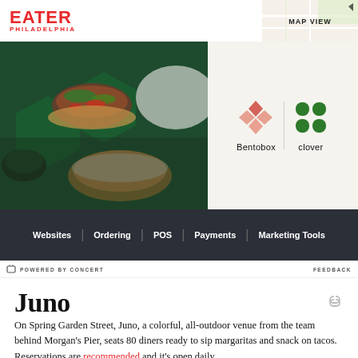EATER PHILADELPHIA
[Figure (photo): Food photo showing tacos and dipping sauces on green hexagonal plates from above, left portion of hero image]
[Figure (logo): Bentobox and Clover sponsor logos on cream background with vertical divider]
MAP VIEW
Websites | Ordering | POS | Payments | Marketing Tools
POWERED BY CONCERT   FEEDBACK
Juno
On Spring Garden Street, Juno, a colorful, all-outdoor venue from the team behind Morgan's Pier, seats 80 diners ready to sip margaritas and snack on tacos. Reservations are recommended and it's open daily.